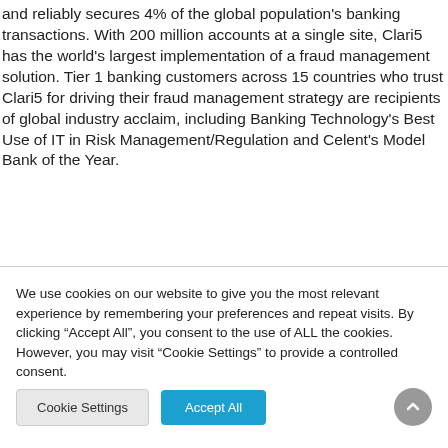and reliably secures 4% of the global population's banking transactions. With 200 million accounts at a single site, Clari5 has the world's largest implementation of a fraud management solution. Tier 1 banking customers across 15 countries who trust Clari5 for driving their fraud management strategy are recipients of global industry acclaim, including Banking Technology's Best Use of IT in Risk Management/Regulation and Celent's Model Bank of the Year.
We use cookies on our website to give you the most relevant experience by remembering your preferences and repeat visits. By clicking "Accept All", you consent to the use of ALL the cookies. However, you may visit "Cookie Settings" to provide a controlled consent.